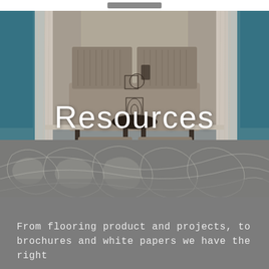[Figure (photo): Interior room scene with patterned carpet, two upholstered chairs with ottomans, a black side table with decorative objects, teal/blue walls, and sheer white curtains. The carpet features an ornate silver/white floral pattern on grey background.]
Resources
From flooring product and projects, to brochures and white papers we have the right